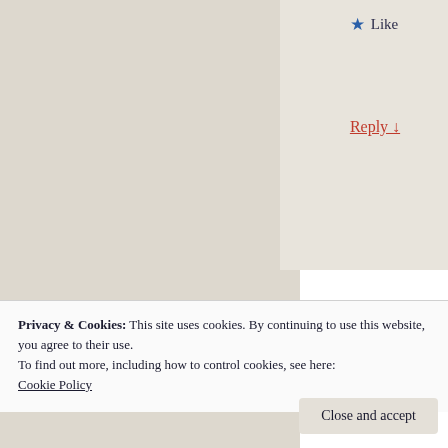[Figure (screenshot): A webpage screenshot showing a comment section with a Like button (star icon) and a Reply link (in red, underlined). Below is an Advertisements label and a pink advertisement panel showing a block editor toolbar with a Bold button tooltip ('Bold ⌘B') and large text reading 'Customize eve... on your site wi... new Site Editor...']
Privacy & Cookies: This site uses cookies. By continuing to use this website, you agree to their use.
To find out more, including how to control cookies, see here: Cookie Policy
Close and accept